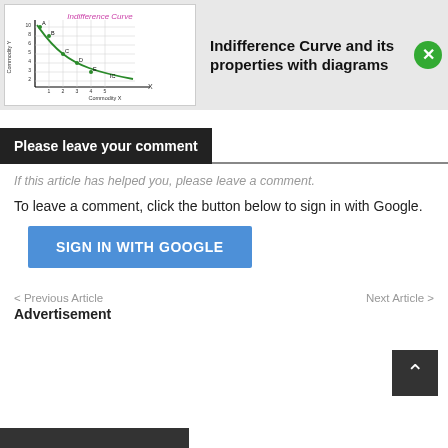[Figure (illustration): Thumbnail showing an indifference curve diagram with axes labeled Commodity Y and Commodity X, with a downward-sloping curve labeled IC passing through points A, B, C, D, E.]
Indifference Curve and its properties with diagrams
Please leave your comment
If this article has helped you, please leave a comment.
To leave a comment, click the button below to sign in with Google.
SIGN IN WITH GOOGLE
< Previous Article
Advertisement
Next Article >